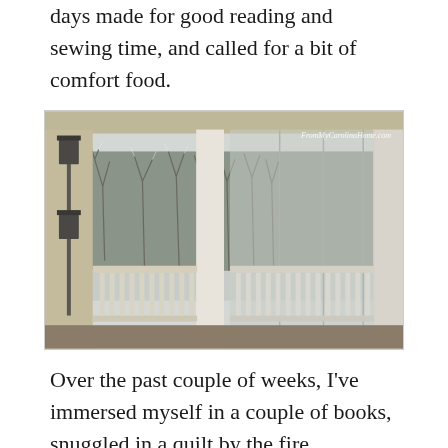days made for good reading and sewing time, and called for a bit of comfort food.
[Figure (photo): View from a covered porch in winter: bare ice-covered trees in the background, white porch railing with balusters in the foreground, a bird feeder on a pole to the left. Watermark reads FromMyCarolinaHome.com in the upper right.]
Over the past couple of weeks, I've immersed myself in a couple of books, snuggled in a quilt by the fire